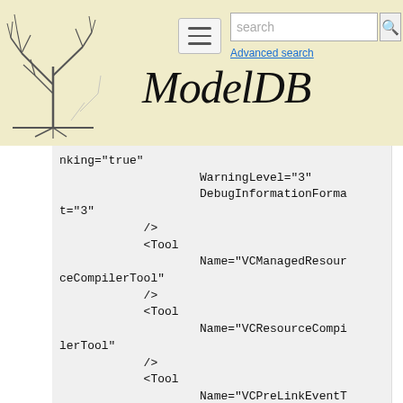ModelDB - Advanced search
[Figure (logo): ModelDB website header with tree logo illustration and ModelDB italic title text, search box, hamburger menu, and Advanced search link]
nking="true"
                    WarningLevel="3"
                    DebugInformationFormat="3"
            />
            <Tool
                    Name="VCManagedResourceCompilerTool"
            />
            <Tool
                    Name="VCResourceCompilerTool"
            />
            <Tool
                    Name="VCPreLinkEventTool"
            />
            <Tool
                    Name="VCLinkerTool"
                    GenerateDebugInformat